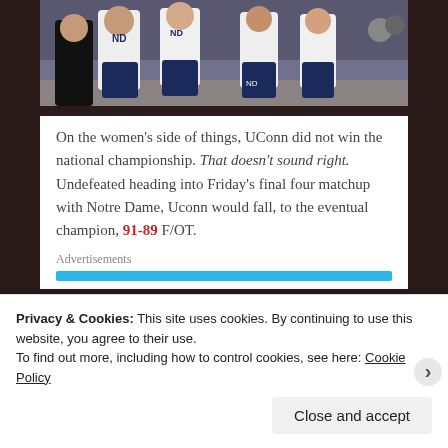[Figure (photo): Basketball players celebrating on court, wearing Notre Dame navy uniforms, crowds in background]
On the women's side of things, UConn did not win the national championship. That doesn't sound right. Undefeated heading into Friday's final four matchup with Notre Dame, Uconn would fall, to the eventual champion, 91-89 F/OT.
Advertisements
Privacy & Cookies: This site uses cookies. By continuing to use this website, you agree to their use.
To find out more, including how to control cookies, see here: Cookie Policy